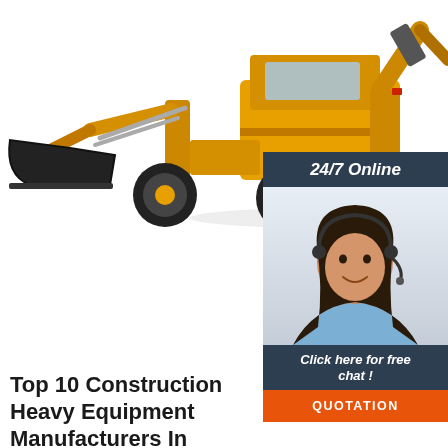[Figure (photo): Yellow backhoe loader / construction equipment on white background, front loader bucket visible on left, cab and arm on right]
[Figure (photo): 24/7 Online chat panel with dark navy header reading '24/7 Online', photo of smiling female customer service agent wearing headset, footer text 'Click here for free chat!', orange QUOTATION button]
Top 10 Construction Heavy Equipment Manufacturers In
2021-8-27u2002·u20021. Caterpillar (CAT) Specialized in: construction and mining equipment. This American Fortune 100 corporation is one of the best heavy equipment manufacturers. Caterpillar has a product line of over 300 machines such as asphalt pavers, dozers, material handlers, and loaders.